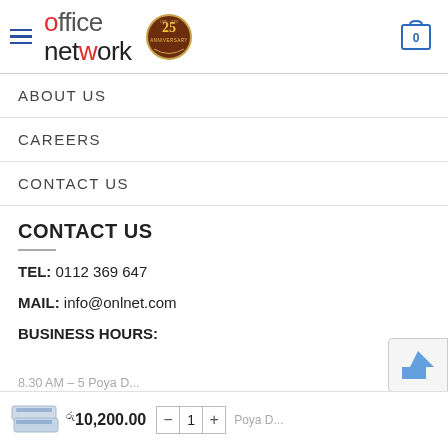office network (logo with 25th anniversary badge)
ABOUT US
CAREERS
CONTACT US
CONTACT US
TEL: 0112 369 647
MAIL: info@onlnet.com
BUSINESS HOURS:
Rs 10,200.00   - 1 +   8.30 AM – 5...Poya Days...